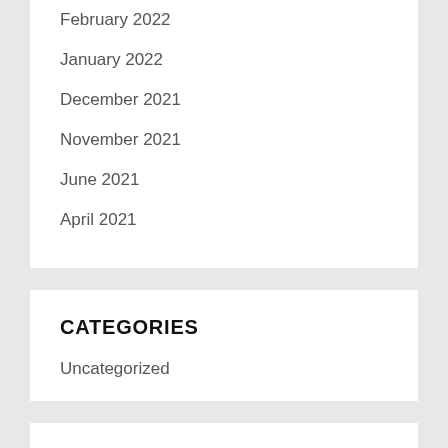February 2022
January 2022
December 2021
November 2021
June 2021
April 2021
CATEGORIES
Uncategorized
META